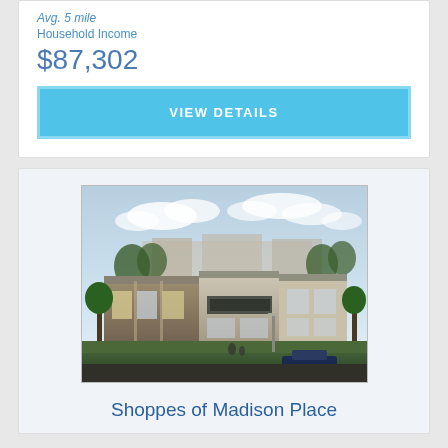Avg. 5 mile Household Income
$87,302
VIEW DETAILS
[Figure (photo): Architectural rendering of a modern retail shopping center with storefronts, trees, and landscaping under a partly cloudy sky. Cars and pedestrians visible.]
Shoppes of Madison Place